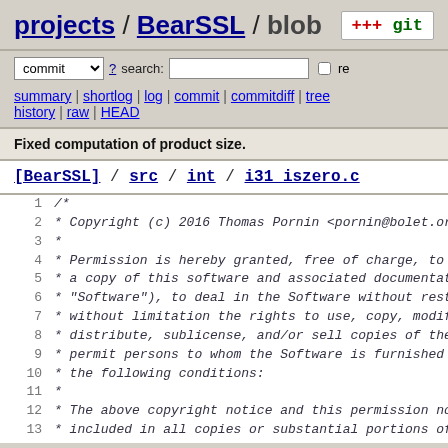projects / BearSSL / blob
commit ? search: re
summary | shortlog | log | commit | commitdiff | tree history | raw | HEAD
Fixed computation of product size.
[BearSSL] / src / int / i31_iszero.c
1 /*
2  * Copyright (c) 2016 Thomas Pornin <pornin@bolet.org>
3  *
4  * Permission is hereby granted, free of charge, to any
5  * a copy of this software and associated documentation
6  * "Software"), to deal in the Software without restric
7  * without limitation the rights to use, copy, modify,
8  * distribute, sublicense, and/or sell copies of the Sc
9  * permit persons to whom the Software is furnished to
10  * the following conditions:
11  *
12  * The above copyright notice and this permission notic
13  * included in all copies or substantial portions of th
14  *
15  * THE SOFTWARE IS PROVIDED "AS IS", WITHOUT WARRANTY C
16  * EXPRESS OR IMPLIED, INCLUDING BUT NOT LIMITED TO THE
17  * MERCHANTABILITY, FITNESS FOR A PARTICULAR PURPOSE AM
18  * NONINFRINGEMENT. IN NO EVENT SHALL THE AUTHORS OR CC
19  * BE LIABLE FOR ANY CLAIM, DAMAGES OR OTHER LIABILITY